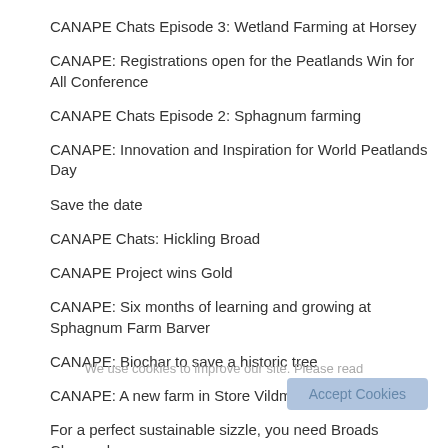CANAPE Chats Episode 3: Wetland Farming at Horsey
CANAPE: Registrations open for the Peatlands Win for All Conference
CANAPE Chats Episode 2: Sphagnum farming
CANAPE: Innovation and Inspiration for World Peatlands Day
Save the date
CANAPE Chats: Hickling Broad
CANAPE Project wins Gold
CANAPE: Six months of learning and growing at Sphagnum Farm Barver
CANAPE: Biochar to save a historic tree
CANAPE: A new farm in Store Vildmose
For a perfect sustainable sizzle, you need Broads Charcoal
CANAPE: So how do you build a Moss Farm?